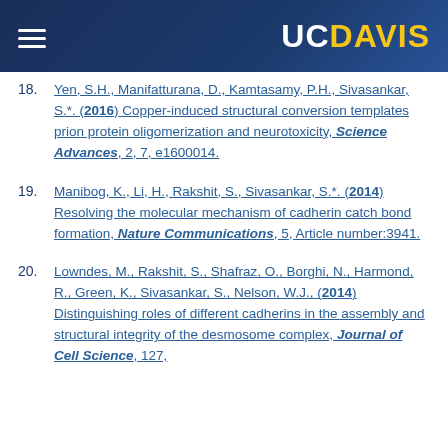UC DAVIS
18. Yen, S.H., Manifatturana, D., Kamtasamy, P.H., Sivasankar, S.*. (2016) Copper-induced structural conversion templates prion protein oligomerization and neurotoxicity, Science Advances, 2, 7, e1600014.
19. Manibog, K., Li, H., Rakshit, S., Sivasankar, S.*. (2014) Resolving the molecular mechanism of cadherin catch bond formation, Nature Communications, 5, Article number:3941.
20. Lowndes, M., Rakshit, S., Shafraz, O., Borghi, N., Harmond, R., Green, K., Sivasankar, S., Nelson, W.J., (2014) Distinguishing roles of different cadherins in the assembly and structural integrity of the desmosome complex, Journal of Cell Science, 127,